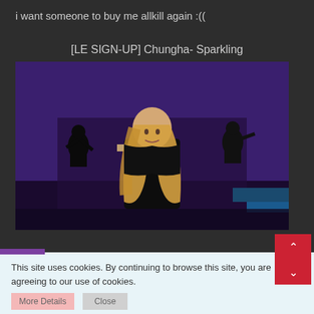i want someone to buy me allkill again :((
[LE SIGN-UP] Chungha- Sparkling
[Figure (photo): Screenshot of a music video featuring a woman with long blonde hair wearing a black outfit, with silhouetted dancers in the background against a purple-lit stage]
This site uses cookies. By continuing to browse this site, you are agreeing to our use of cookies.
More Details   Close